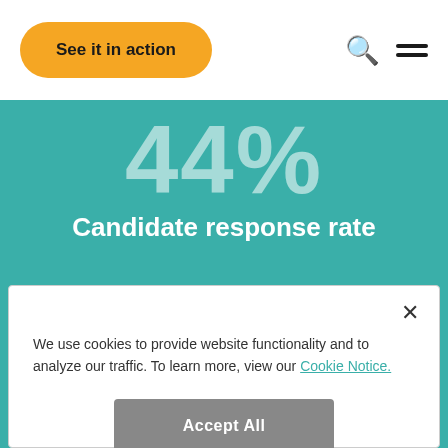See it in action
44%
Candidate response rate
We use cookies to provide website functionality and to analyze our traffic. To learn more, view our Cookie Notice.
Accept All
Cookie Settings
50%